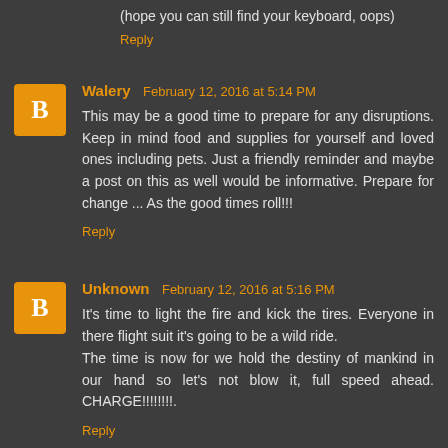(hope you can still find your keyboard, oops)
Reply
Walery  February 12, 2016 at 5:14 PM
This may be a good time to prepare for any disruptions. Keep in mind food and supplies for yourself and loved ones including pets. Just a friendly reminder and maybe a post on this as well would be informative. Prepare for change ... As the good times roll!!!
Reply
Unknown  February 12, 2016 at 5:16 PM
It's time to light the fire and kick the tires. Everyone in there flight suit it's going to be a wild ride.
The time is now for we hold the destiny of mankind in our hand so let's not blow it, full speed ahead. CHARGE!!!!!!!!.
Reply